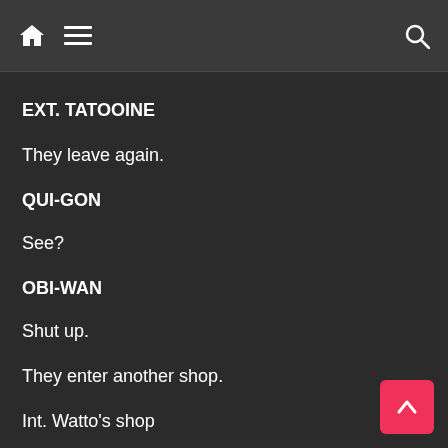[home icon] [menu icon] [search icon]
EXT. TATOOINE
They leave again.
QUI-GON
See?
OBI-WAN
Shut up.
They enter another shop.
Int. Watto's shop